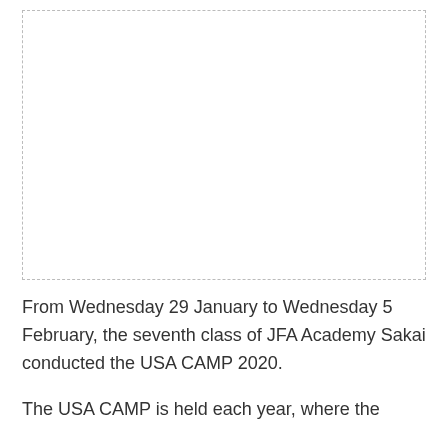[Figure (photo): Empty image placeholder with dashed border]
From Wednesday 29 January to Wednesday 5 February, the seventh class of JFA Academy Sakai conducted the USA CAMP 2020.
The USA CAMP is held each year, where the